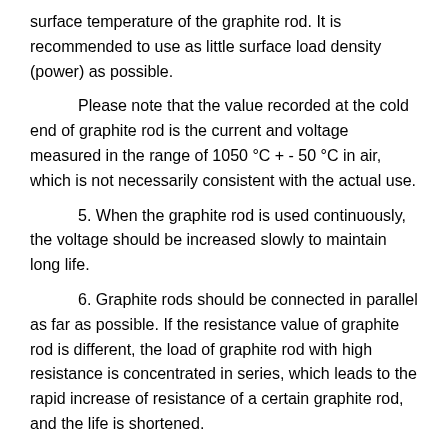surface temperature of the graphite rod. It is recommended to use as little surface load density (power) as possible.
Please note that the value recorded at the cold end of graphite rod is the current and voltage measured in the range of 1050 °C + - 50 °C in air, which is not necessarily consistent with the actual use.
5. When the graphite rod is used continuously, the voltage should be increased slowly to maintain long life.
6. Graphite rods should be connected in parallel as far as possible. If the resistance value of graphite rod is different, the load of graphite rod with high resistance is concentrated in series, which leads to the rapid increase of resistance of a certain graphite rod, and the life is shortened.
At the same time, it is necessary to strengthen the matching of resistance values, that is, the resistance values of the same group of bars should be as close as possible. Generally, the